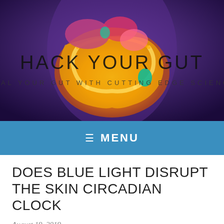[Figure (illustration): Medical illustration of human digestive/gut anatomy with glowing intestines in orange/yellow against a purple background. Overlaid text reads 'HACK YOUR GUT' and below it 'HEAL YOUR GUT WITH CUTTING EDGE SCIENCE'.]
≡ MENU
DOES BLUE LIGHT DISRUPT THE SKIN CIRCADIAN CLOCK
August 19, 2019